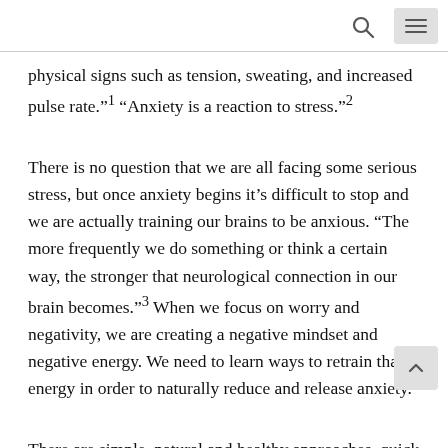physical signs such as tension, sweating, and increased pulse rate.”1 “Anxiety is a reaction to stress.”2
There is no question that we are all facing some serious stress, but once anxiety begins it’s difficult to stop and we are actually training our brains to be anxious. “The more frequently we do something or think a certain way, the stronger that neurological connection in our brain becomes.”3 When we focus on worry and negativity, we are creating a negative mindset and negative energy. We need to learn ways to retrain that energy in order to naturally reduce and release anxiety.
There are simple, natural and healthy approaches, quick fixes if you will, that we can do to reduce and release anxiety. Many of the strategies are nothing new, but it often